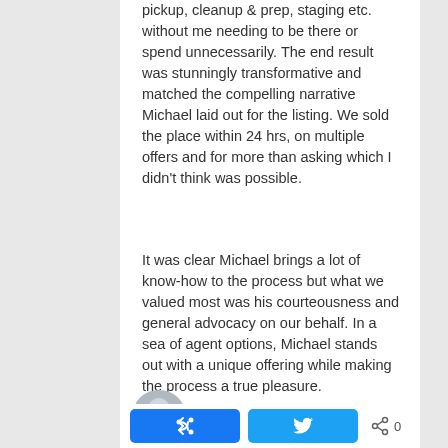pickup, cleanup & prep, staging etc. without me needing to be there or spend unnecessarily. The end result was stunningly transformative and matched the compelling narrative Michael laid out for the listing. We sold the place within 24 hrs, on multiple offers and for more than asking which I didn't think was possible.
It was clear Michael brings a lot of know-how to the process but what we valued most was his courteousness and general advocacy on our behalf. In a sea of agent options, Michael stands out with a unique offering while making the process a true pleasure.
Tania Butler